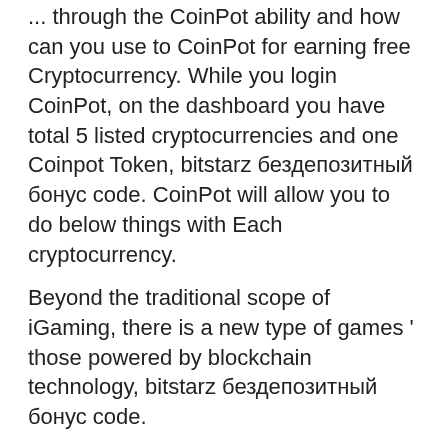... through the CoinPot ability and how can you use to CoinPot for earning free Cryptocurrency. While you login CoinPot, on the dashboard you have total 5 listed cryptocurrencies and one Coinpot Token, bitstarz бездепозитный бонус code. CoinPot will allow you to do below things with Each cryptocurrency.
Beyond the traditional scope of iGaming, there is a new type of games ' those powered by blockchain technology, bitstarz бездепозитный бонус code.
Every bitcoin casino operator should care about its customers. The QYTO team specialists attentively check the contacts of a site you choose for playing with bitcoin currency. Communication with customer service employees is an inevitable procedure, bitstarz бездепозитный бонус code.
Bitstarz bonus code 2020, bits...